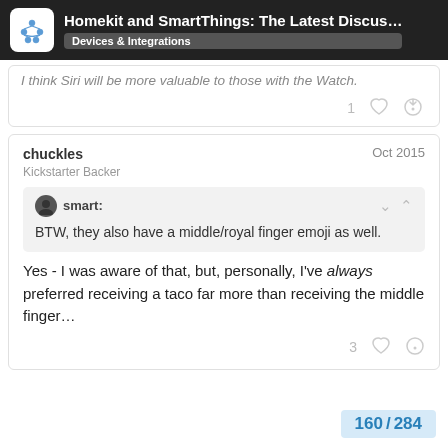Homekit and SmartThings: The Latest Discus… | Devices & Integrations
I think Siri will be more valuable to those with the Watch.
1 ♡ 🔗
chuckles — Oct 2015 — Kickstarter Backer
smart: BTW, they also have a middle/royal finger emoji as well.
Yes - I was aware of that, but, personally, I've always preferred receiving a taco far more than receiving the middle finger…
160 / 284